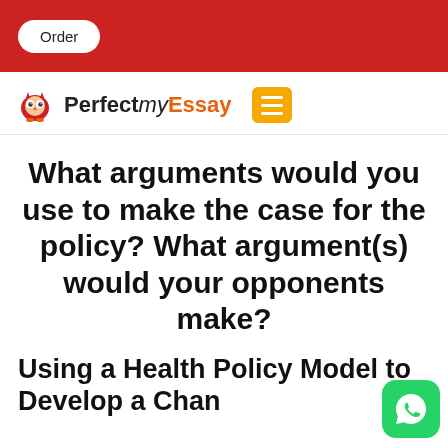Order
[Figure (logo): Perfect my Essay owl logo and brand name with hamburger menu button]
What arguments would you use to make the case for the policy? What argument(s) would your opponents make?
Using a Health Policy Model to Develop a Chan... (truncated)